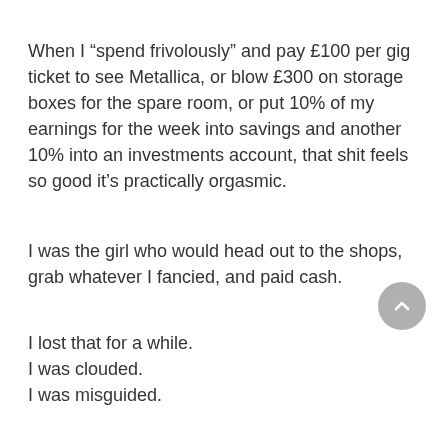When I “spend frivolously” and pay £100 per gig ticket to see Metallica, or blow £300 on storage boxes for the spare room, or put 10% of my earnings for the week into savings and another 10% into an investments account, that shit feels so good it’s practically orgasmic.
I was the girl who would head out to the shops, grab whatever I fancied, and paid cash.
I lost that for a while.
I was clouded.
I was misguided.